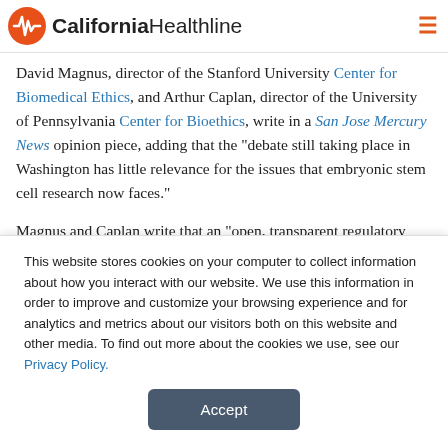California Healthline
David Magnus, director of the Stanford University Center for Biomedical Ethics, and Arthur Caplan, director of the University of Pennsylvania Center for Bioethics, write in a San Jose Mercury News opinion piece, adding that the "debate still taking place in Washington has little relevance for the issues that embryonic stem cell research now faces."
Magnus and Caplan write that an "open, transparent regulatory framework" is needed to facilitate stem cell research, concluding that "the debate on stem cell research must focus on making sure that this research is done following the highest ethical standards"
This website stores cookies on your computer to collect information about how you interact with our website. We use this information in order to improve and customize your browsing experience and for analytics and metrics about our visitors both on this website and other media. To find out more about the cookies we use, see our Privacy Policy.